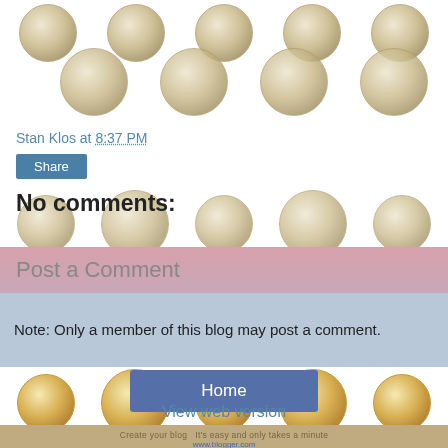[Figure (illustration): Background rows of silver-toned presidential dollar coins scattered decoratively across the top portion of the blog page]
Stan Klos at 8:37 PM
Share
No comments:
Post a Comment
Note: Only a member of this blog may post a comment.
[Figure (illustration): Background rows of gold-toned presidential dollar coins scattered decoratively across the lower portion of the blog page]
Home
View web version
Create your blog   It's easy and only takes a minute   www.blogger.com